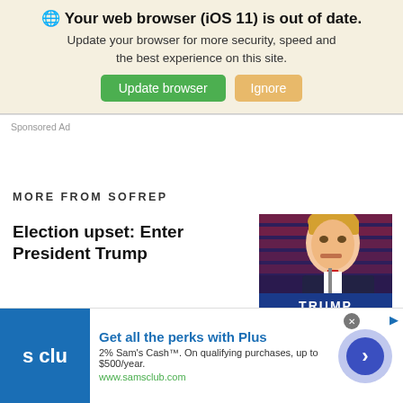🌐 Your web browser (iOS 11) is out of date. Update your browser for more security, speed and the best experience on this site. Update browser | Ignore
Sponsored Ad
MORE FROM SOFREP
Election upset: Enter President Trump
[Figure (photo): Photo of Donald Trump at podium with Trump Pence sign, American flag background]
[Figure (infographic): Advertisement banner: Get all the perks with Plus. 2% Sam's Cash™. On qualifying purchases, up to $500/year. www.samsclub.com. Sam's Club logo.]